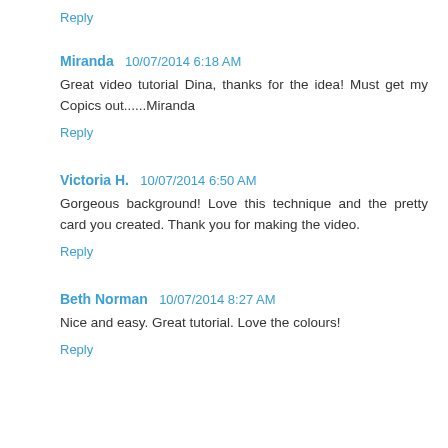Reply
Miranda  10/07/2014 6:18 AM
Great video tutorial Dina, thanks for the idea! Must get my Copics out......Miranda
Reply
Victoria H.  10/07/2014 6:50 AM
Gorgeous background! Love this technique and the pretty card you created. Thank you for making the video.
Reply
Beth Norman  10/07/2014 8:27 AM
Nice and easy. Great tutorial. Love the colours!
Reply